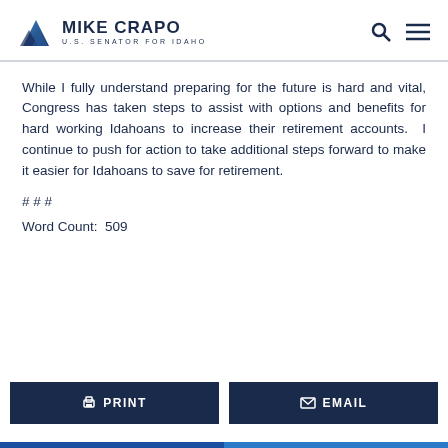MIKE CRAPO U.S. SENATOR FOR IDAHO
While I fully understand preparing for the future is hard and vital, Congress has taken steps to assist with options and benefits for hard working Idahoans to increase their retirement accounts.  I continue to push for action to take additional steps forward to make it easier for Idahoans to save for retirement.
# # #
Word Count:  509